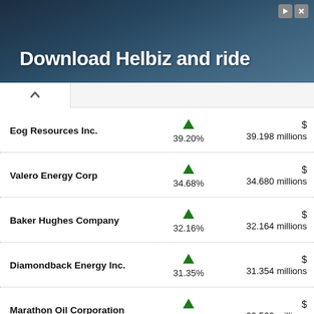[Figure (photo): Advertisement banner with dark background showing a person with camera equipment and text 'Download Helbiz and ride']
| Company | Change % | Value |
| --- | --- | --- |
| Eog Resources Inc. | 39.20% | $ 39.198 millions |
| Valero Energy Corp | 34.68% | $ 34.680 millions |
| Baker Hughes Company | 32.16% | $ 32.164 millions |
| Diamondback Energy Inc. | 31.35% | $ 31.354 millions |
| Marathon Oil Corporation | 29.56% | $ 29.562 millions |